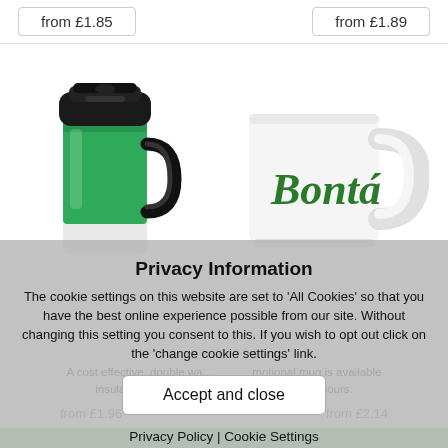from £1.85
from £1.89
[Figure (photo): Green insulated travel mug with black lid and handle]
[Figure (photo): White ceramic mug with 'Bontá' logo in green script]
Privacy Information
The cookie settings on this website are set to 'All Cookies' so that you have the best online experience possible from our site. Without changing this setting you consent to this. If you wish to opt out click on the 'change cookie settings' link.
Accept and close
Privacy Policy | Cookie Settings
A cost effective, double walled insulated travel mug is available in various stock colours.
from £1.96
from £2.14